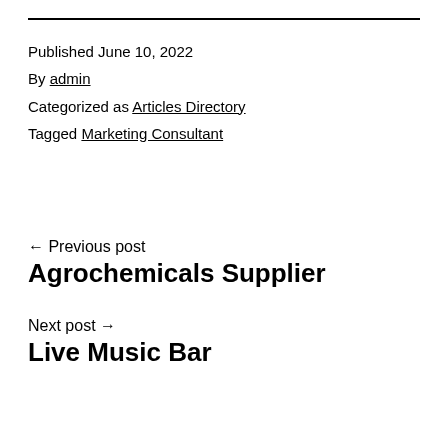Published June 10, 2022
By admin
Categorized as Articles Directory
Tagged Marketing Consultant
← Previous post
Agrochemicals Supplier
Next post →
Live Music Bar